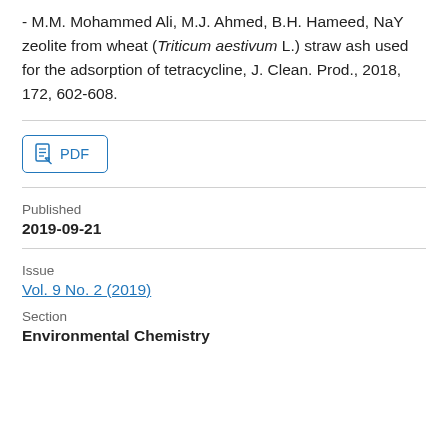- M.M. Mohammed Ali, M.J. Ahmed, B.H. Hameed, NaY zeolite from wheat (Triticum aestivum L.) straw ash used for the adsorption of tetracycline, J. Clean. Prod., 2018, 172, 602-608.
[Figure (other): PDF button with document icon and text 'PDF']
Published
2019-09-21
Issue
Vol. 9 No. 2 (2019)
Section
Environmental Chemistry